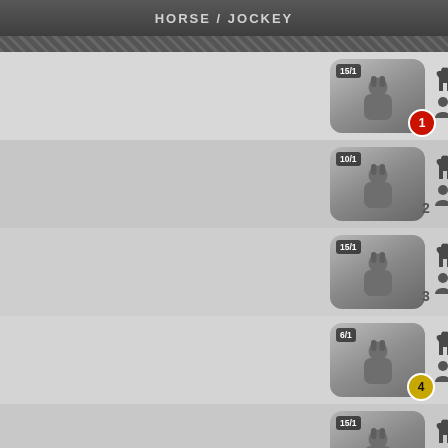HORSE / JOCKEY
1 El Veinticuatro / Joel Rosario — 15/1
2 Shadow Box / Trevor Mccarthy — 10/1 — SCR
3 Waralo / Eric Cancel — 15/1 — SCR
4 He'sgottashortfuse / Manuel Franco — 6/1
5 Raw Courage / Dylan Davis — 15/1
6 Limit Up / Javier Castellano — 6/1